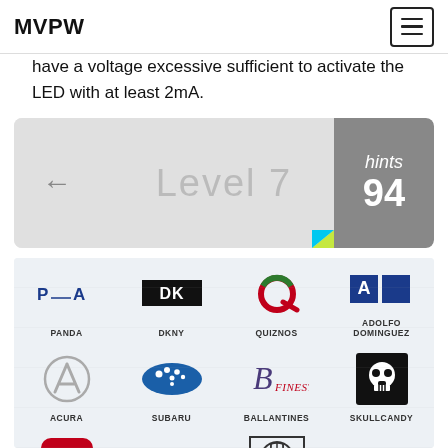MVPW
have a voltage excessive sufficient to activate the LED with at least 2mA.
[Figure (screenshot): Level 7 game interface bar with back arrow on left, 'Level 7' text in center, and 'hints 94' badge on right in gray rounded rectangle with yellow-green and cyan corner accent]
[Figure (infographic): Logo quiz grid showing brand logos: Row 1: PANDA, DKNY, QUIZNOS, ADOLFO DOMINGUEZ. Row 2: ACURA, SUBARU, BALLANTINES, SKULLCANDY. Row 3: SEAT, KDDI, BUICK, AIWA. Row 4 (partial): partial logos visible at bottom.]